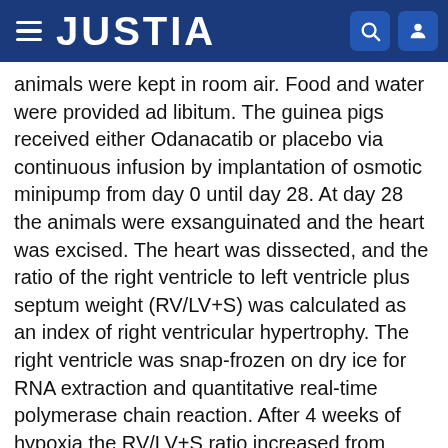JUSTIA
animals were kept in room air. Food and water were provided ad libitum. The guinea pigs received either Odanacatib or placebo via continuous infusion by implantation of osmotic minipump from day 0 until day 28. At day 28 the animals were exsanguinated and the heart was excised. The heart was dissected, and the ratio of the right ventricle to left ventricle plus septum weight (RV/LV+S) was calculated as an index of right ventricular hypertrophy. The right ventricle was snap-frozen on dry ice for RNA extraction and quantitative real-time polymerase chain reaction. After 4 weeks of hypoxia the RV/LV+S ratio increased from 0.28±0.01 (Mean±SEM, normoxic control group) to 0.37±0.01 (Mean±SEM, hypoxic placebo group). Treatment with Odanacatib markedly and surprisingly decreased the RV/LV+S ratio to 0.30±0.01 (Mean±SEM). The results are shown in FIG. 1. Control: ratio of heart right ventricle